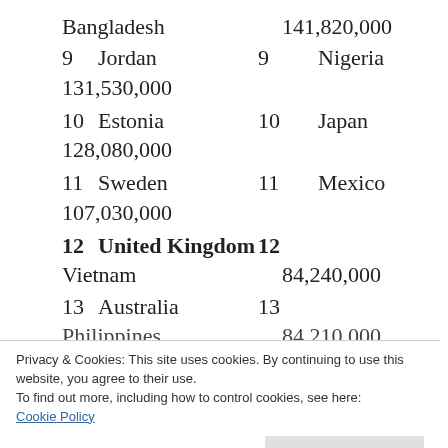Bangladesh   141,820,000
9   Jordan   9   Nigeria
131,530,000
10   Estonia   10   Japan
128,080,000
11   Sweden   11   Mexico
107,030,000
12   United Kingdom   12
Vietnam   84,240,000
13   Australia   13
Philippines   84,210,000
Privacy & Cookies: This site uses cookies. By continuing to use this website, you agree to their use.
To find out more, including how to control cookies, see here:
Cookie Policy
Close and accept
16   New Zealand   16